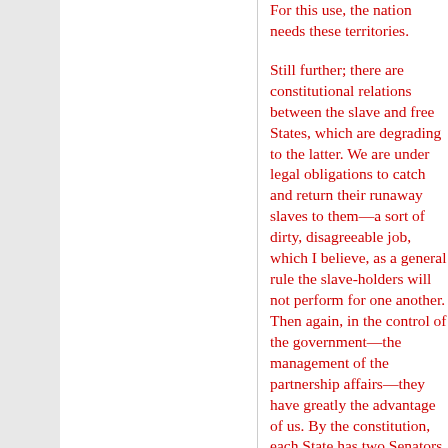For this use, the nation needs these territories.
Still further; there are constitutional relations between the slave and free States, which are degrading to the latter. We are under legal obligations to catch and return their runaway slaves to them—a sort of dirty, disagreeable job, which I believe, as a general rule the slave-holders will not perform for one another. Then again, in the control of the government—the management of the partnership affairs—they have greatly the advantage of us. By the constitution, each State has two Senators—each has a number of Representatives; in proportion to the number